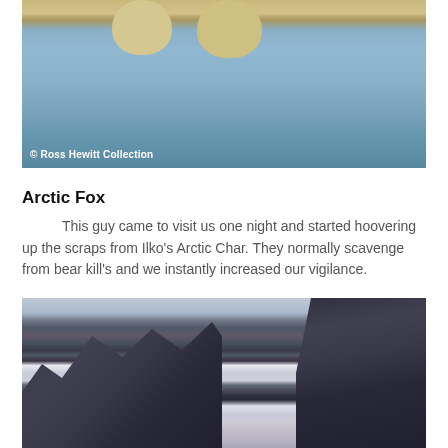[Figure (photo): Close-up photo of an Arctic fox, showing legs and paws on snowy ground. Copyright watermark reads '© Ross Hewitt Collection'.]
Arctic Fox
This guy came to visit us one night and started hoovering up the scraps from Ilko's Arctic Char. They normally scavenge from bear kill's and we instantly increased our vigilance.
[Figure (photo): Landscape photo of snow-covered rocky mountain peaks and cliffs in an arctic or alpine environment.]